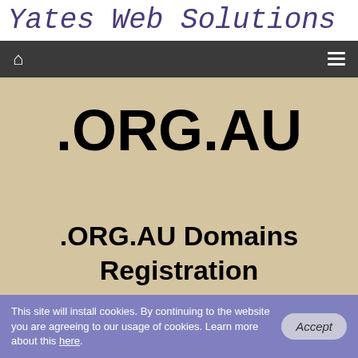Yates Web Solutions
Navigation bar with home icon and hamburger menu
.ORG.AU
.ORG.AU Domains Registration
This site will install cookies. By continuing to the website you are agreeing to our usage of cookies. Learn more about this here.